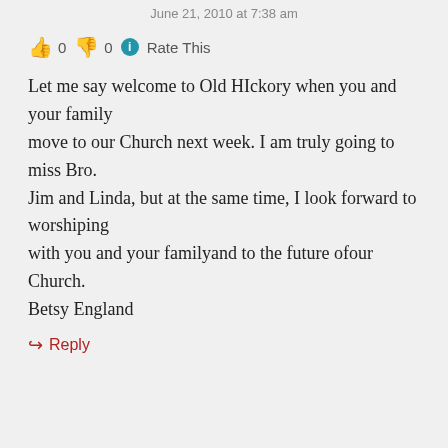June 21, 2010 at 7:38 am
👍 0 👎 0 ℹ Rate This
Let me say welcome to Old HIckory when you and your family move to our Church next week. I am truly going to miss Bro. Jim and Linda, but at the same time, I look forward to worshiping with you and your familyand to the future ofour Church.
Betsy England
↪ Reply